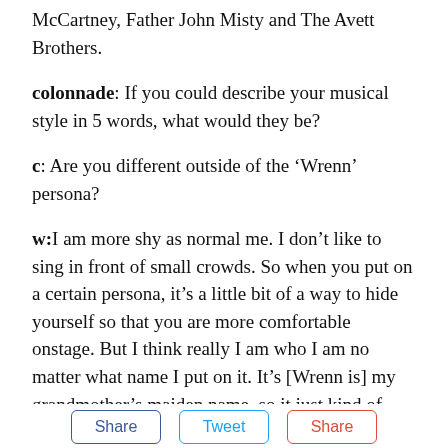McCartney, Father John Misty and The Avett Brothers.
colonnade: If you could describe your musical style in 5 words, what would they be?
c: Are you different outside of the ‘Wrenn’ persona?
w: I am more shy as normal me. I don’t like to sing in front of small crowds. So when you put on a certain persona, it’s a little bit of a way to hide yourself so that you are more comfortable onstage. But I think really I am who I am no matter what name I put on it. It’s [Wrenn is] my grandmother’s maiden name, so it just kind of reminds me to keep myself in check.